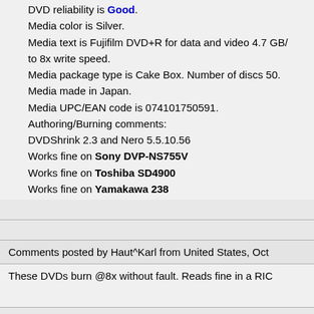DVD reliability is Good.
Media color is Silver.
Media text is Fujifilm DVD+R for data and video 4.7 GB/ to 8x write speed.
Media package type is Cake Box. Number of discs 50.
Media made in Japan.
Media UPC/EAN code is 074101750591.
Authoring/Burning comments:
DVDShrink 2.3 and Nero 5.5.10.56
Works fine on Sony DVP-NS755V
Works fine on Toshiba SD4900
Works fine on Yamakawa 238
Comments posted by Haut^Karl from United States, Oct
These DVDs burn @8x without fault. Reads fine in a RIC
Additional information: